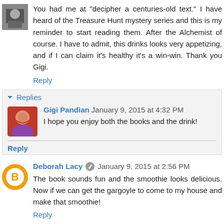[Figure (photo): Small avatar image of a commenter in top left corner]
You had me at "decipher a centuries-old text." I have heard of the Treasure Hunt mystery series and this is my reminder to start reading them. After the Alchemist of course. I have to admit, this drinks looks very appetizing, and if I can claim it's healthy it's a win-win. Thank you Gigi.
Reply
▾ Replies
[Figure (photo): Avatar image of Gigi Pandian]
Gigi Pandian  January 9, 2015 at 4:32 PM
I hope you enjoy both the books and the drink!
Reply
[Figure (illustration): Orange circle avatar for Deborah Lacy (Blogger icon)]
Deborah Lacy  January 9, 2015 at 2:56 PM
The book sounds fun and the smoothie looks delicious. Now if we can get the gargoyle to come to my house and make that smoothie!
Reply